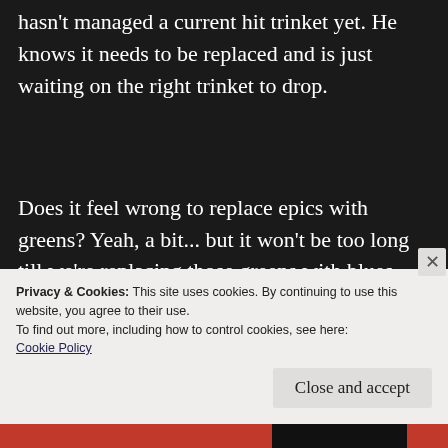hasn't managed a current hit trinket yet. He knows it needs to be replaced and is just waiting on the right trinket to drop.
Does it feel wrong to replace epics with greens? Yeah, a bit... but it won't be too long till we're replacing those greens with blues and epics.
Isn't it better to have a stat jump then skip
Privacy & Cookies: This site uses cookies. By continuing to use this website, you agree to their use.
To find out more, including how to control cookies, see here:
Cookie Policy
Close and accept